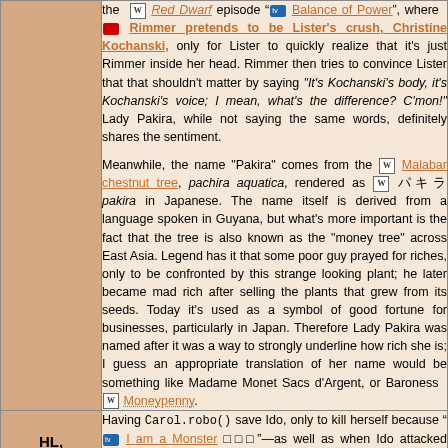the Red Dwarf episode "Balance of Power", where Rimmer pretends to be Lister's crush, Christine Kochanski, only for Lister to quickly realize that it's just Rimmer inside her head. Rimmer then tries to convince Lister that that shouldn't matter by saying "It's Kochanski's body, it's Kochanski's voice; I mean, what's the difference? C'mon!" Lady Pakira, while not saying the same words, definitely shares the sentiment.

Meanwhile, the name "Pakira" comes from the Malabar chestnut tree, pachira aquatica, rendered as パキラ pakira in Japanese. The name itself is derived from a language spoken in Guyana, but what's more important is the fact that the tree is also known as the "money tree" across East Asia. Legend has it that some poor guy prayed for riches, only to be confronted by this strange looking plant; he later became mad rich after selling the plants that grew from its seeds. Today it's used as a symbol of good fortune for businesses, particularly in Japan. Therefore Lady Pakira was named after it was a way to strongly underline how rich she is; I guess an appropriate translation of her name would be something like Madame Monet Sacs d'Argent, or Baroness Moneypenny.
HL, p91 Having Carol.robo() save Ido, only to kill herself because "I am a Monster"—as well as when Ido attacked Carol.robo(), initially assuming it was...